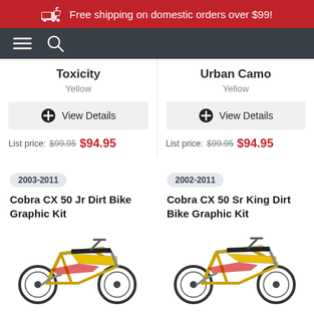Free shipping on domestic orders over $99!
Toxicity
Yellow
Urban Camo
Yellow
View Details
View Details
List price: $99.95  $94.95
List price: $99.95  $94.95
2003-2011
2002-2011
Cobra CX 50 Jr Dirt Bike Graphic Kit
Cobra CX 50 Sr King Dirt Bike Graphic Kit
[Figure (photo): Yellow dirt bike (Cobra CX 50 Jr) with graphic kit]
[Figure (photo): Yellow dirt bike (Cobra CX 50 Sr King) with graphic kit]